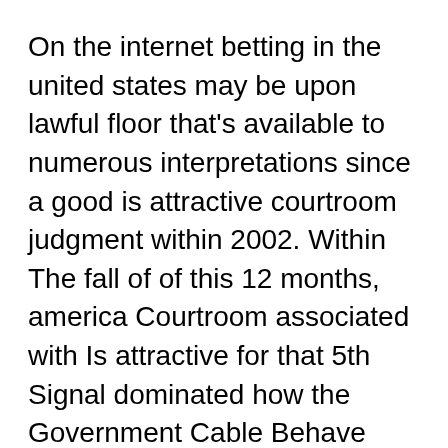On the internet betting in the united states may be upon lawful floor that's available to numerous interpretations since a good is attractive courtroom judgment within 2002. Within The fall of of this 12 months, america Courtroom associated with Is attractive for that 5th Signal dominated how the Government Cable Behave banned digital tranny associated with sports activities wagering info throughout telecoms outlines. Nevertheless, additionally, it confirmed less courtroom judgment how the Cable Behave doesn't stop Web betting upon video games associated with opportunity. This particular able to escape UNITED STATES on the internet casinos through needing to cease procedures, however just briefly.